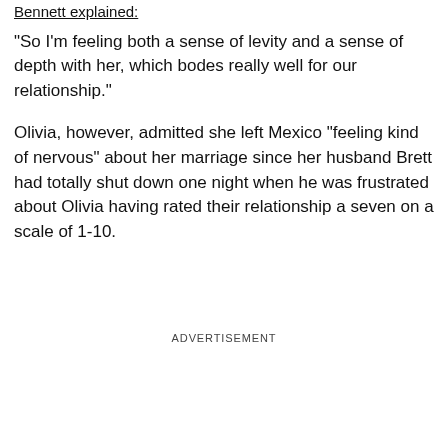Bennett explained:
"So I'm feeling both a sense of levity and a sense of depth with her, which bodes really well for our relationship."
Olivia, however, admitted she left Mexico "feeling kind of nervous" about her marriage since her husband Brett had totally shut down one night when he was frustrated about Olivia having rated their relationship a seven on a scale of 1-10.
ADVERTISEMENT